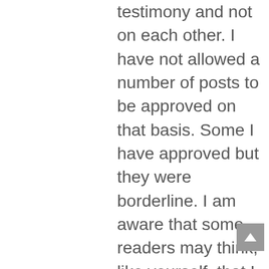testimony and not on each other. I have not allowed a number of posts to be approved on that basis. Some I have approved but they were borderline. I am aware that some readers may think, like yourself, that I don't always get the balance right – and I am glad that you tell me when that's the case. It causes me to re-evaluate my own assessments. I am sure I will never please everyone, but I also need help from readers to keep this site as one where everybody feels free to come to join the discussion without insult.

I will ask people here again: please